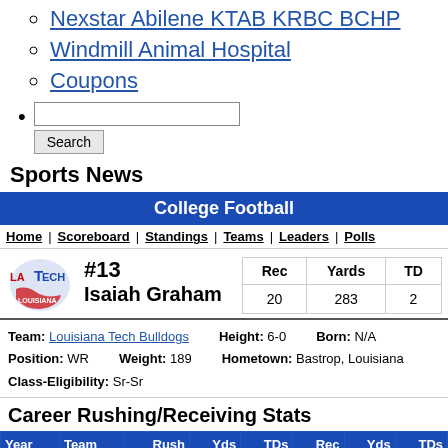Nexstar Abilene KTAB KRBC BCHP
Windmill Animal Hospital
Coupons
Sports News
| College Football |
| --- |
Home | Scoreboard | Standings | Teams | Leaders | Polls
[Figure (logo): Louisiana Tech Bulldogs logo]
#13 Isaiah Graham
| Rec | Yards | TD |
| --- | --- | --- |
| 20 | 283 | 2 |
Team: Louisiana Tech Bulldogs  Height: 6-0  Born: N/A
Position: WR  Weight: 189  Hometown: Bastrop, Louisiana
Class-Eligibility: Sr-Sr
Career Rushing/Receiving Stats
| Year | Team | Rush | Yds | TDs | Rec | Yds | TDs |
| --- | --- | --- | --- | --- | --- | --- | --- |
| 2016 | TCU | 1 | 0 | 0 | 6 | 69 | 0 |